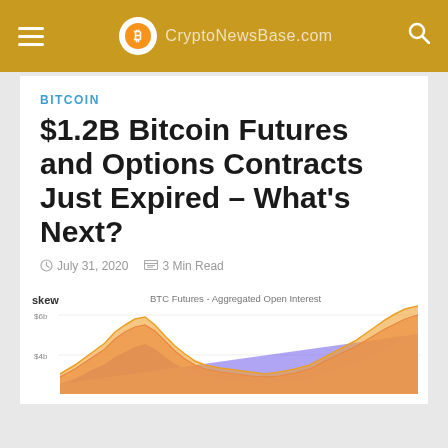CryptoNewsBase.com
BITCOIN
$1.2B Bitcoin Futures and Options Contracts Just Expired – What's Next?
July 31, 2020   3 Min Read
[Figure (continuous-plot): skew - BTC Futures - Aggregated Open Interest area chart showing values around $4b-$6b range with multiple colored layers (red, orange, purple, blue). Chart shows a peak near the left and rising trend on the right.]